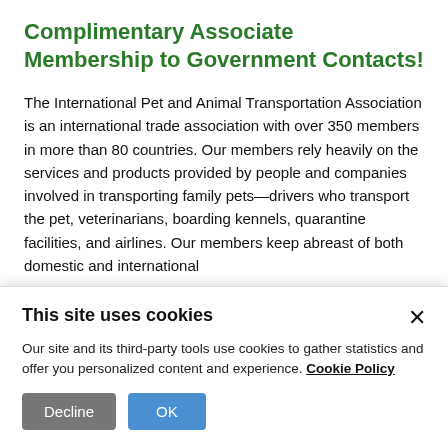Complimentary Associate Membership to Government Contacts!
The International Pet and Animal Transportation Association is an international trade association with over 350 members in more than 80 countries. Our members rely heavily on the services and products provided by people and companies involved in transporting family pets—drivers who transport the pet, veterinarians, boarding kennels, quarantine facilities, and airlines. Our members keep abreast of both domestic and international
This site uses cookies

Our site and its third-party tools use cookies to gather statistics and offer you personalized content and experience. Cookie Policy

[Decline] [OK]